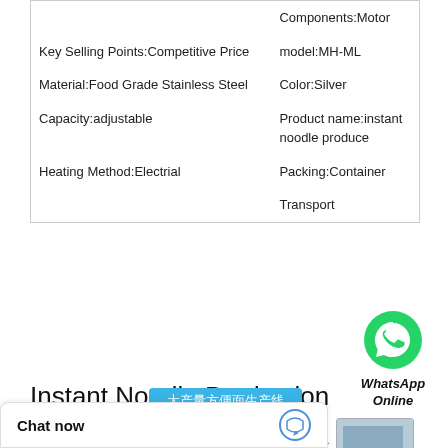|  | Components:Motor |
| Key Selling Points:Competitive Price | model:MH-ML |
| Material:Food Grade Stainless Steel | Color:Silver |
| Capacity:adjustable | Product name:instant noodle produce |
| Heating Method:Electrial | Packing:Container |
|  | Transport |
[Figure (logo): WhatsApp green phone logo icon with text WhatsApp Online]
Instant Noodle Production Line Description
[Figure (infographic): Chinese text banner reading 大产量方便面生产线 on a blue background, followed by a row of four factory production line photos connected by arrows]
Chat now